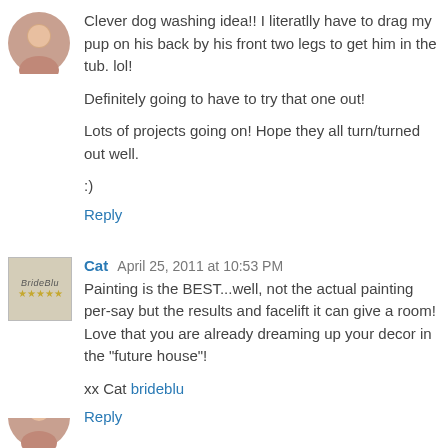[Figure (photo): Small circular profile photo of a woman]
Clever dog washing idea!! I literatlly have to drag my pup on his back by his front two legs to get him in the tub. lol!
Definitely going to have to try that one out!
Lots of projects going on! Hope they all turn/turned out well.
:)
Reply
[Figure (logo): BrideBlu logo/avatar square image]
Cat  April 25, 2011 at 10:53 PM
Painting is the BEST...well, not the actual painting per-say but the results and facelift it can give a room! Love that you are already dreaming up your decor in the "future house"!
xx Cat brideblu
Reply
[Figure (photo): Partial profile photo at bottom of page]